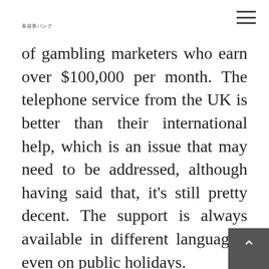美容薬バンク
of gambling marketers who earn over $100,000 per month. The telephone service from the UK is better than their international help, which is an issue that may need to be addressed, although having said that, it's still pretty decent. The support is always available in different languages, even on public holidays.
The latest no deposit casino bonuses are considered by many as the best casino promotion for a number of reasons. So